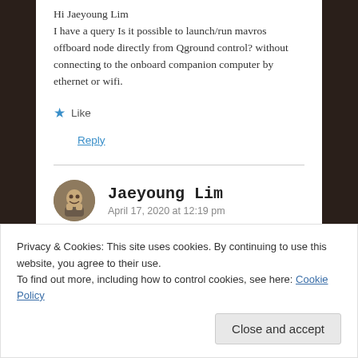Hi Jaeyoung Lim
I have a query Is it possible to launch/run mavros offboard node directly from Qground control? without connecting to the onboard companion computer by ethernet or wifi.
★ Like
Reply
Jaeyoung Lim
April 17, 2020 at 12:19 pm
Privacy & Cookies: This site uses cookies. By continuing to use this website, you agree to their use.
To find out more, including how to control cookies, see here: Cookie Policy
Close and accept